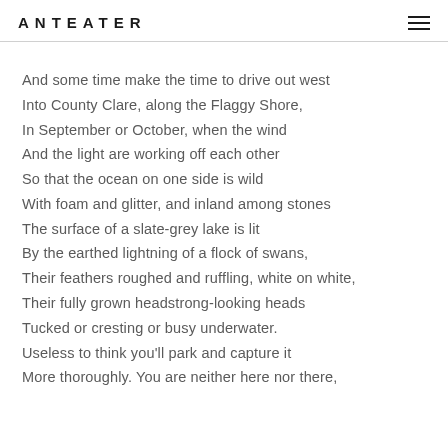ANTEATER
And some time make the time to drive out west
Into County Clare, along the Flaggy Shore,
In September or October, when the wind
And the light are working off each other
So that the ocean on one side is wild
With foam and glitter, and inland among stones
The surface of a slate-grey lake is lit
By the earthed lightning of a flock of swans,
Their feathers roughed and ruffling, white on white,
Their fully grown headstrong-looking heads
Tucked or cresting or busy underwater.
Useless to think you'll park and capture it
More thoroughly. You are neither here nor there,